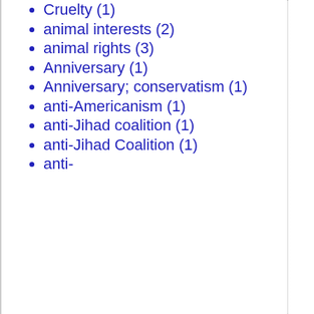Cruelty (1)
animal interests (2)
animal rights (3)
Anniversary (1)
Anniversary; conservatism (1)
anti-Americanism (1)
anti-Jihad coalition (1)
anti-Jihad Coalition (1)
anti-